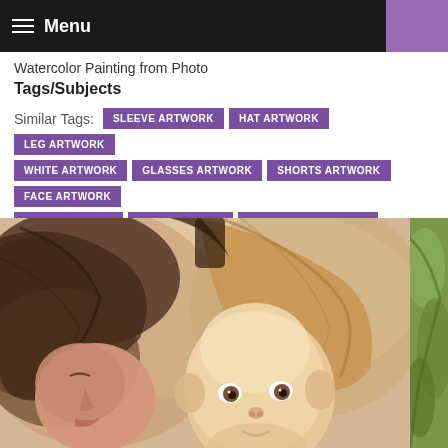Menu
Watercolor Painting from Photo
Tags/Subjects
Similar Tags: SLEEVE ARTWORK  HAT ARTWORK  LEG ARTWORK  WHITE ARTWORK  GLASSES ARTWORK  SHORTS ARTWORK  FACE ARTWORK  HEAD ARTWORK  HAIR ARTWORK  HEADGEAR ARTWORK  View 227 more
« Previous  Next »
[Figure (photo): Watercolor painting showing a mother or adult leaning over a bald baby/toddler, painted in warm earth tones. Partially visible second image on right edge showing green foliage background.]